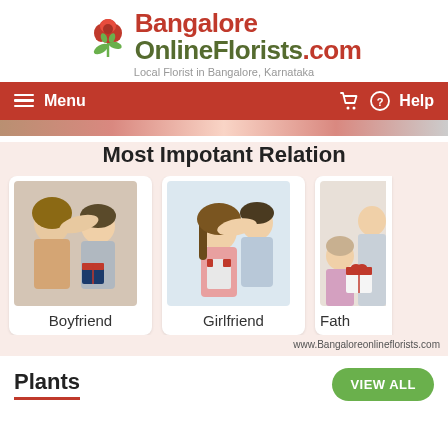[Figure (logo): BangaloreOnlineFlorists.com logo with red rose graphic, red and olive text, tagline 'Local Florist in Bangalore, Karnataka']
Menu  Help
Most Impotant Relation
[Figure (photo): Woman covering man's eyes with gift, labeled Boyfriend]
[Figure (photo): Man covering woman's eyes with gift, labeled Girlfriend]
[Figure (photo): Partial photo of father with child, labeled Fath (cut off)]
www.Bangaloreonlineflorists.com
Plants
VIEW ALL